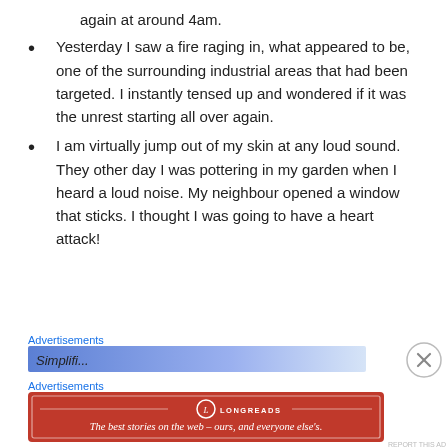again at around 4am.
Yesterday I saw a fire raging in, what appeared to be, one of the surrounding industrial areas that had been targeted. I instantly tensed up and wondered if it was the unrest starting all over again.
I am virtually jump out of my skin at any loud sound. They other day I was pottering in my garden when I heard a loud noise. My neighbour opened a window that sticks. I thought I was going to have a heart attack!
Advertisements
[Figure (other): Blue/purple gradient advertisement banner, partially visible]
Advertisements
[Figure (other): Longreads red advertisement banner: The best stories on the web – ours, and everyone else's.]